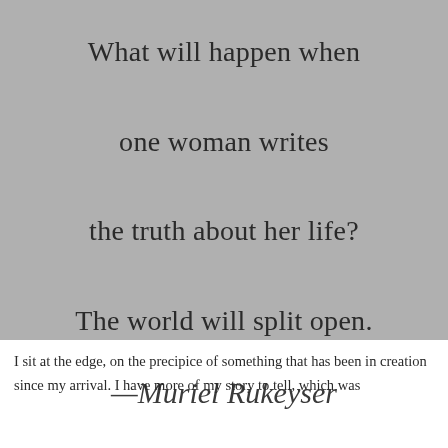[Figure (illustration): A gray-background image containing a centered quote in serif font: 'What will happen when one woman writes the truth about her life? The world will split open.' with attribution '—Muriel Rukeyser' in cursive script below.]
I sit at the edge, on the precipice of something that has been in creation since my arrival. I have more of my story to tell, which was